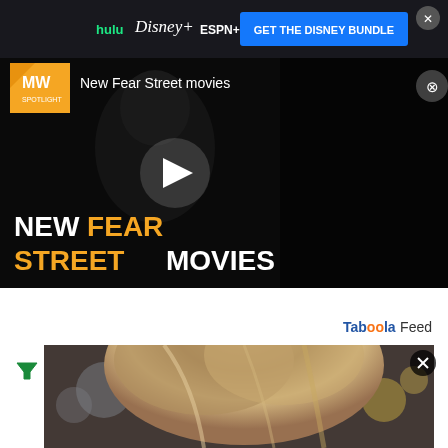[Figure (screenshot): Disney Bundle advertisement banner with Hulu, Disney+, and ESPN+ logos and blue 'GET THE DISNEY BUNDLE' button on dark background]
[Figure (screenshot): MW Spotlight advertisement for 'NEW FEAR STREET MOVIES' with dark hooded figure image, play button, orange and white bold text on black background]
Taboola Feed
[Figure (photo): Photo of a woman with blonde highlighted hair, partially visible face, against blurred background with bokeh lights]
[Figure (screenshot): Continuation of woman's face photo below the fold]